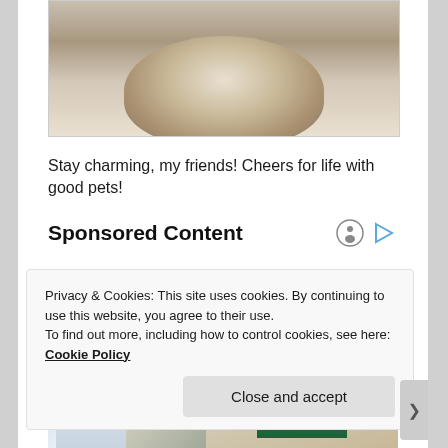[Figure (photo): Partial photo of a fluffy animal (cat or dog), showing fur close-up, cropped at top]
Stay charming, my friends! Cheers for life with good pets!
Sponsored Content
[Figure (photo): Photo of an elderly person wearing glasses and a green shirt, sitting near a white appliance]
Privacy & Cookies: This site uses cookies. By continuing to use this website, you agree to their use.
To find out more, including how to control cookies, see here: Cookie Policy
Close and accept